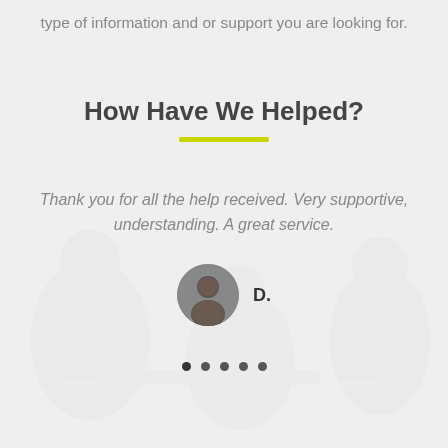type of information and or support you are looking for.
How Have We Helped?
Thank you for all the help received. Very supportive, understanding. A great service.
D.